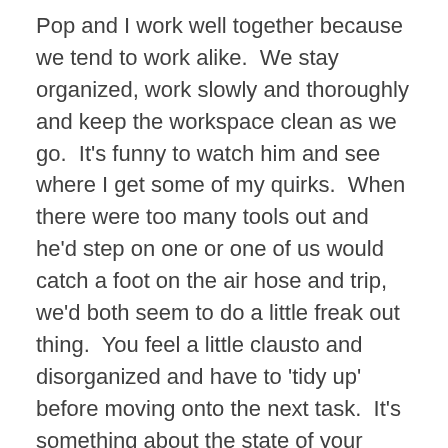Pop and I work well together because we tend to work alike.  We stay organized, work slowly and thoroughly and keep the workspace clean as we go.  It's funny to watch him and see where I get some of my quirks.  When there were too many tools out and he'd step on one or one of us would catch a foot on the air hose and trip, we'd both seem to do a little freak out thing.  You feel a little clausto and disorganized and have to 'tidy up' before moving onto the next task.  It's something about the state of your surroundings directly affecting your ability to deal.
We worked in this way for a couple days, removing every wire, tube and pipe attached to the engine.  While Pop was at breakfast with friends one morning I felt the need to get a jump on things.  Momma was in the garage with me and we had been poking around, seeing what